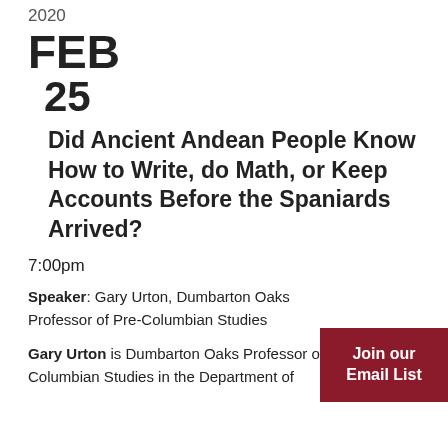2020
FEB
25
Did Ancient Andean People Know How to Write, do Math, or Keep Accounts Before the Spaniards Arrived?
7:00pm
Speaker:  Gary Urton, Dumbarton Oaks Professor of Pre-Columbian Studies
Gary Urton is Dumbarton Oaks Professor of Pre-Columbian Studies in the Department of
[Figure (other): Dark red button with white text reading 'Join our Email List']